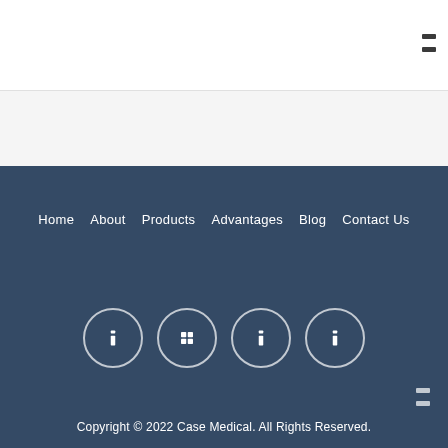[Figure (other): Navigation menu icon (hamburger) in top-right corner]
Home  About  Products  Advantages  Blog  Contact Us
[Figure (other): Four social media icon circles with white outlines on dark blue background]
[Figure (other): Small icon in bottom-right of footer]
Copyright © 2022 Case Medical. All Rights Reserved.